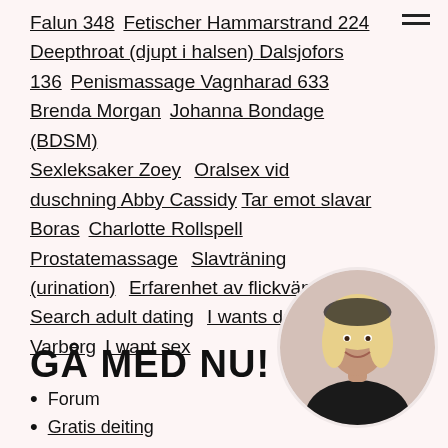Falun 348  Fetischer Hammarstrand 224  Deepthroat (djupt i halsen) Dalsjofors 136  Penismassage Vagnharad 633  Brenda Morgan  Johanna Bondage (BDSM)  Sexleksaker Zoey   Oralsex vid duschning Abby Cassidy Tar emot slavar Boras  Charlotte Rollspell   Prostatemassage   Slavträning (urination)   Erfarenhet av flickvän (GFE)   Search adult dating   I wants dating Varberg  I want sex
GÅ MED NU!
Forum
Gratis deiting
[Figure (photo): Circular portrait photo of a blonde woman smiling, wearing dark clothing]